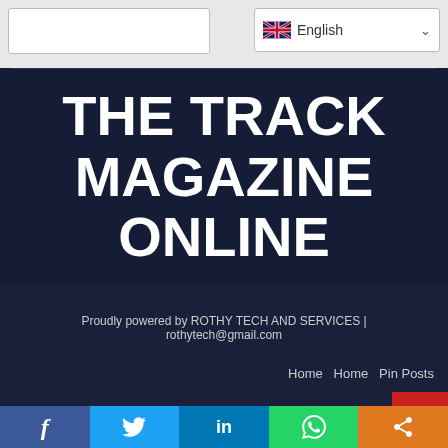English (language selector)
THE TRACK MAGAZINE ONLINE
Proudly powered by ROTHY TECH AND SERVICES | rothytech@gmail.com
Home   Home   Pin Posts
[Figure (screenshot): Social media share bar with Facebook, Twitter, LinkedIn, WhatsApp, and share icons]